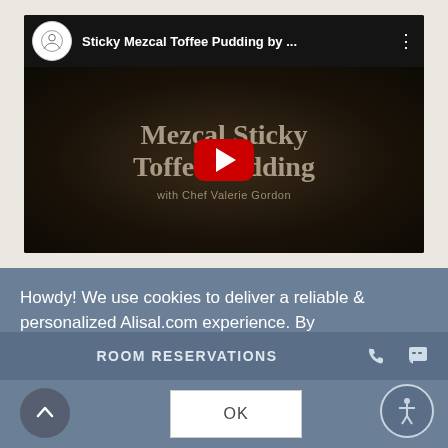[Figure (screenshot): YouTube video thumbnail for 'Sticky Mezcal Toffee Pudding by ...' featuring a dark food background with large overlay text 'Mezcal Sticky Toffee Pudding with Chef Valerie Gordon' and a red YouTube play button in the center. A circular channel logo is shown in the top-left header area.]
Howdy! We use cookies to deliver a reliable & personalized Alisal.com experience. By browsing Alisal.com, you agree to our Privacy Policy.
ROOM RESERVATIONS
OK